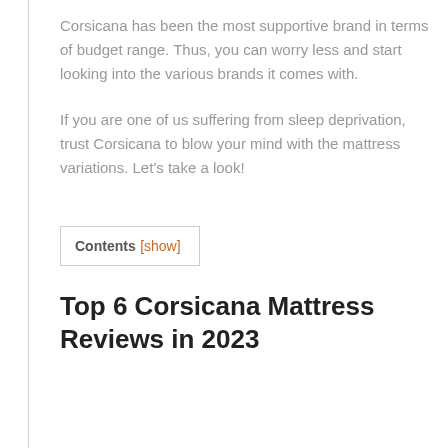Corsicana has been the most supportive brand in terms of budget range. Thus, you can worry less and start looking into the various brands it comes with.
If you are one of us suffering from sleep deprivation, trust Corsicana to blow your mind with the mattress variations. Let’s take a look!
Contents [show]
Top 6 Corsicana Mattress Reviews in 2023